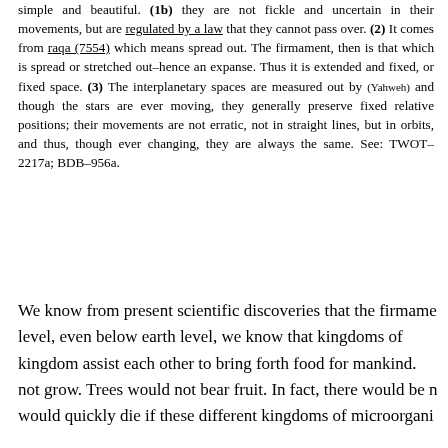simple and beautiful. (1b) they are not fickle and uncertain in their movements, but are regulated by a law that they cannot pass over. (2) It comes from raqa (7554) which means spread out. The firmament, then is that which is spread or stretched out–hence an expanse. Thus it is extended and fixed, or fixed space. (3) The interplanetary spaces are measured out by (Yahweh) and though the stars are ever moving, they generally preserve fixed relative positions; their movements are not erratic, not in straight lines, but in orbits, and thus, though ever changing, they are always the same. See: TWOT–2217a; BDB–956a.
We know from present scientific discoveries that the firmament level, even below earth level, we know that kingdoms of kingdom assist each other to bring forth food for mankind. not grow. Trees would not bear fruit. In fact, there would be n would quickly die if these different kingdoms of microorgani